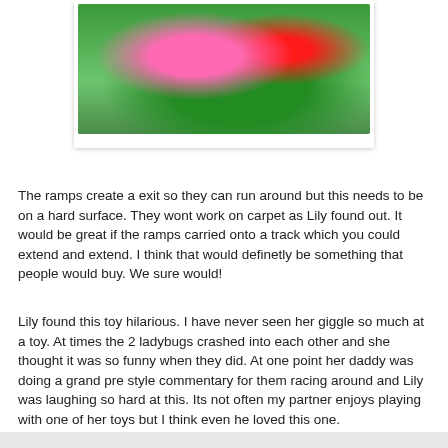[Figure (photo): Photo of a green toy ladybug race track with pink and red ladybug toys on it, displayed in a white photo card with shadow.]
The ramps create a exit so they can run around but this needs to be on a hard surface. They wont work on carpet as Lily found out. It would be great if the ramps carried onto a track which you could extend and extend. I think that would definetly be something that people would buy. We sure would!
Lily found this toy hilarious. I have never seen her giggle so much at a toy. At times the 2 ladybugs crashed into each other and she thought it was so funny when they did. At one point her daddy was doing a grand pre style commentary for them racing around and Lily was laughing so hard at this. Its not often my partner enjoys playing with one of her toys but I think even he loved this one.